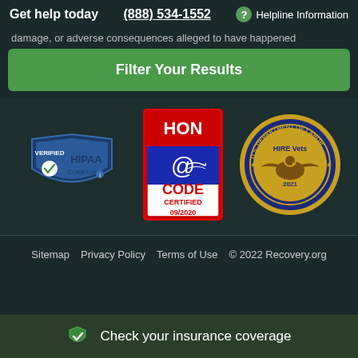Get help today   (888) 534-1552   ? Helpline Information
damage, or adverse consequences alleged to have happened
Filter Your Results
[Figure (logo): HIPAA Verified Compliant badge with shield icon and checkmark]
[Figure (logo): HON Code Certified 09/2020 badge with @ symbol on red/blue background]
[Figure (logo): US Department of Labor HIRE Vets 2021 Gold Award seal with eagle]
Sitemap   Privacy Policy   Terms of Use   © 2022 Recovery.org
Check your insurance coverage